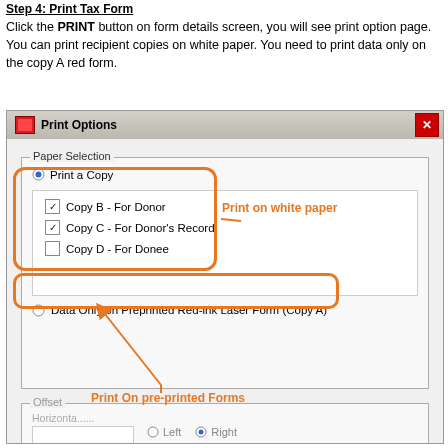Step 4: Print Tax Form
Click the PRINT button on form details screen, you will see print option page. You can print recipient copies on white paper. You need to print data only on the copy A red form.
[Figure (screenshot): Screenshot of Print Options dialog box showing Paper Selection section with checkboxes for Copy B - For Donor (checked), Copy C - For Donor's Record (checked), Copy D - For Donee (unchecked), and a radio button for Data Only on Preprinted Red-ink Laser Form (Copy A). Orange callout boxes highlight 'Print on white paper' and 'Print On pre-printed Forms' and 'Print into PDF file' annotations.]